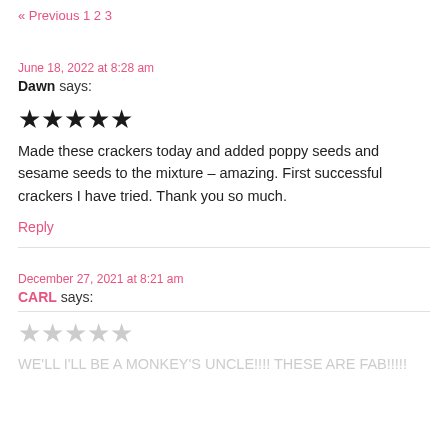« Previous 1 2 3
June 18, 2022 at 8:28 am
Dawn says:
[Figure (other): 5 filled star rating icons]
Made these crackers today and added poppy seeds and sesame seeds to the mixture – amazing. First successful crackers I have tried. Thank you so much.
Reply
December 27, 2021 at 8:21 am
CARL says:
[Figure (other): 5 empty star rating icons]
WE'LL I'LL BE A MONKEY'S UNCLE!!!! THESE ARE FAB!!!!!